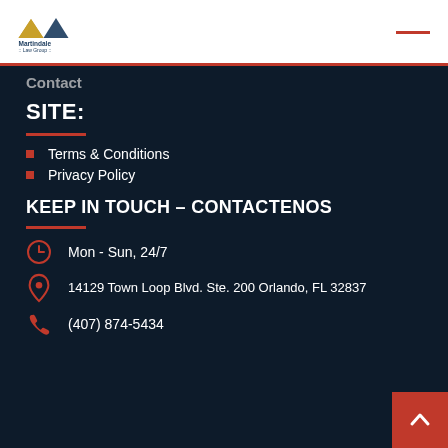Martindale Law Group
Contact
SITE:
Terms & Conditions
Privacy Policy
KEEP IN TOUCH – CONTACTENOS
Mon - Sun, 24/7
14129 Town Loop Blvd. Ste. 200 Orlando, FL 32837
(407) 874-5434